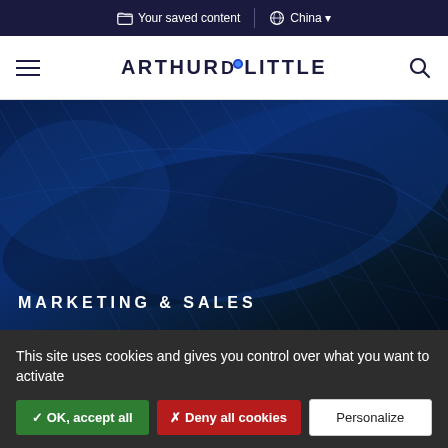Your saved content | China
[Figure (logo): Arthur D. Little logo with hamburger menu and search icon on white navigation bar]
[Figure (photo): Close-up dark blue fabric or feather texture used as hero background image]
MARKETING & SALES
This site uses cookies and gives you control over what you want to activate
✓ OK, accept all | ✗ Deny all cookies | Personalize
Privacy policy